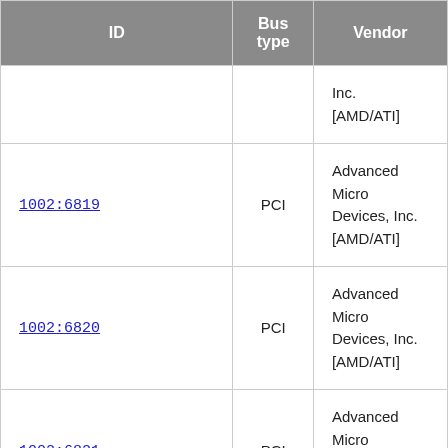| ID | Bus type | Vendor |
| --- | --- | --- |
| (partial row) |  | Inc. [AMD/ATI] |
| 1002:6819 | PCI | Advanced Micro Devices, Inc. [AMD/ATI] |
| 1002:6820 | PCI | Advanced Micro Devices, Inc. [AMD/ATI] |
| 1002:6821 | PCI | Advanced Micro Devices, Inc. |